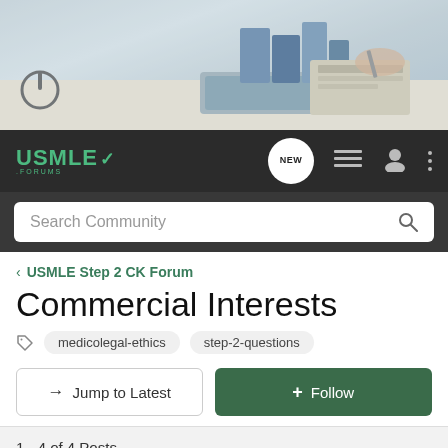[Figure (photo): Hero banner photo showing medical/study desk with books, clipboard, and tablet in background]
USMLE FORUMS — navigation bar with NEW button, list icon, user icon, menu icon, and search bar
< USMLE Step 2 CK Forum
Commercial Interests
medicolegal-ethics  step-2-questions
→ Jump to Latest   + Follow
1 - 4 of 4 Posts
khanar · Registered